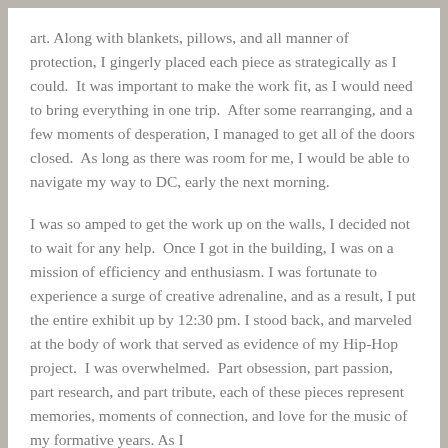art. Along with blankets, pillows, and all manner of protection, I gingerly placed each piece as strategically as I could.  It was important to make the work fit, as I would need to bring everything in one trip.  After some rearranging, and a few moments of desperation, I managed to get all of the doors closed.  As long as there was room for me, I would be able to navigate my way to DC, early the next morning.
I was so amped to get the work up on the walls, I decided not to wait for any help.  Once I got in the building, I was on a mission of efficiency and enthusiasm. I was fortunate to experience a surge of creative adrenaline, and as a result, I put the entire exhibit up by 12:30 pm. I stood back, and marveled at the body of work that served as evidence of my Hip-Hop project.  I was overwhelmed.  Part obsession, part passion, part research, and part tribute, each of these pieces represent memories, moments of connection, and love for the music of my formative years. As I